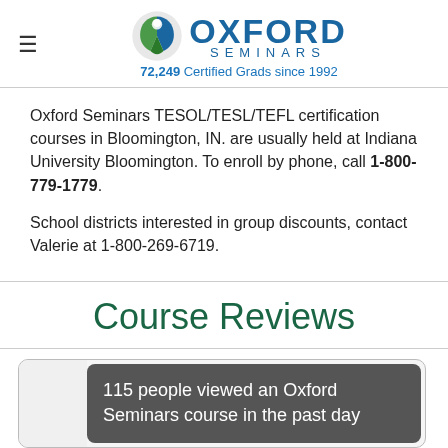Oxford Seminars — 72,249 Certified Grads since 1992
Oxford Seminars TESOL/TESL/TEFL certification courses in Bloomington, IN. are usually held at Indiana University Bloomington. To enroll by phone, call 1-800-779-1779.
School districts interested in group discounts, contact Valerie at 1-800-269-6719.
Course Reviews
115 people viewed an Oxford Seminars course in the past day